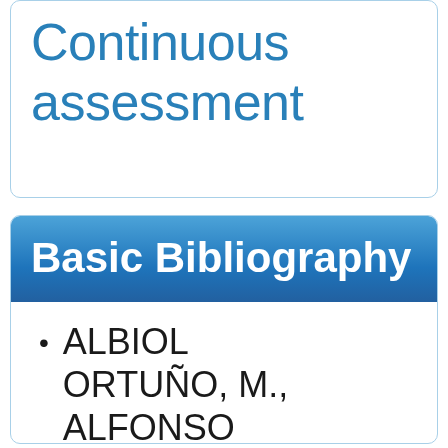Continuous assessment
Basic Bibliography
ALBIOL ORTUÑO, M., ALFONSO MELLADO, C.,